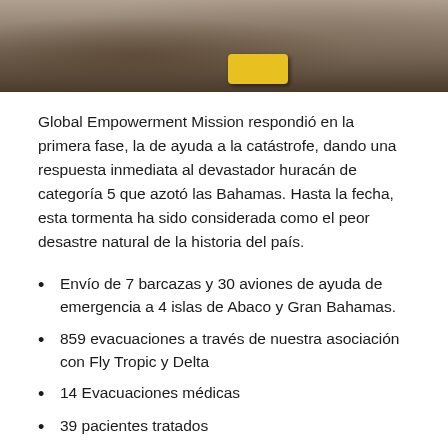[Figure (photo): Top portion of a photo showing people near an emergency supply case (yellow case visible) on a dark ground surface, likely a disaster response scene.]
Global Empowerment Mission respondió en la primera fase, la de ayuda a la catástrofe, dando una respuesta inmediata al devastador huracán de categoría 5 que azotó las Bahamas. Hasta la fecha, esta tormenta ha sido considerada como el peor desastre natural de la historia del país.
Envío de 7 barcazas y 30 aviones de ayuda de emergencia a 4 islas de Abaco y Gran Bahamas.
859 evacuaciones a través de nuestra asociación con Fly Tropic y Delta
14 Evacuaciones médicas
39 pacientes tratados
7 Clínicas aumentadas y abastecidas